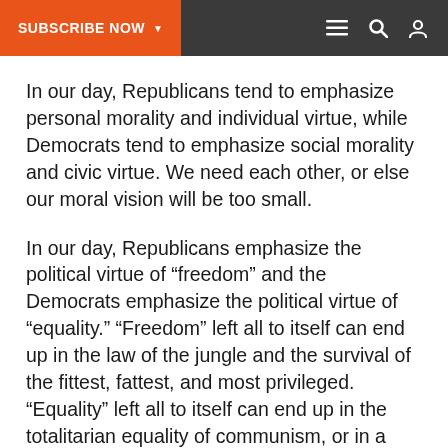SUBSCRIBE NOW
In our day, Republicans tend to emphasize personal morality and individual virtue, while Democrats tend to emphasize social morality and civic virtue. We need each other, or else our moral vision will be too small.
In our day, Republicans emphasize the political virtue of “freedom” and the Democrats emphasize the political virtue of “equality.” “Freedom” left all to itself can end up in the law of the jungle and the survival of the fittest, fattest, and most privileged. “Equality” left all to itself can end up in the totalitarian equality of communism, or in a culture which has lost all incentive for achievement.